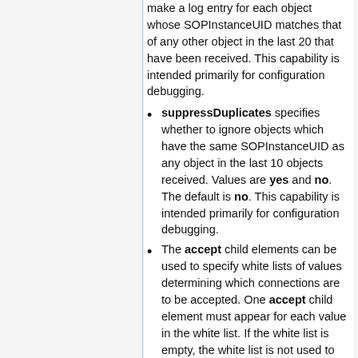make a log entry for each object whose SOPInstanceUID matches that of any other object in the last 20 that have been received. This capability is intended primarily for configuration debugging.
suppressDuplicates specifies whether to ignore objects which have the same SOPInstanceUID as any object in the last 10 objects received. Values are yes and no. The default is no. This capability is intended primarily for configuration debugging.
The accept child elements can be used to specify white lists of values determining which connections are to be accepted. One accept child element must appear for each value in the white list. If the white list is empty, the white list is not used to